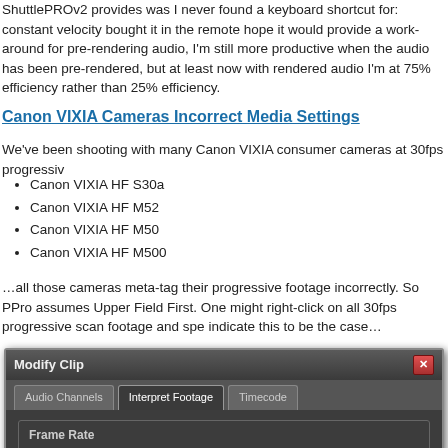ShuttlePROv2 provides was I never found a keyboard shortcut for: constant velocity bought it in the remote hope it would provide a work-around for pre-rendering audio, I'm still more productive when the audio has been pre-rendered, but at least now with rendered audio I'm at 75% efficiency rather than 25% efficiency.
Canon VIXIA Cameras Incorrect Media Settings
We've been shooting with many Canon VIXIA consumer cameras at 30fps progressiv
Canon VIXIA HF S30a
Canon VIXIA HF M52
Canon VIXIA HF M50
Canon VIXIA HF M500
...all those cameras meta-tag their progressive footage incorrectly. So PPro assumes Upper Field First. One might right-click on all 30fps progressive scan footage and spe indicate this to be the case...
[Figure (screenshot): Screenshot of Adobe Premiere Pro 'Modify Clip' dialog showing tabs: Audio Channels, Interpret Footage, Timecode. Frame Rate section with 'Use Frame Rate from File: 29.9700' selected, 'Assume this frame rate: 1.00 fps', 'Remove 24p DV Pulldown' checkbox, and Duration: 00:50:40:00]